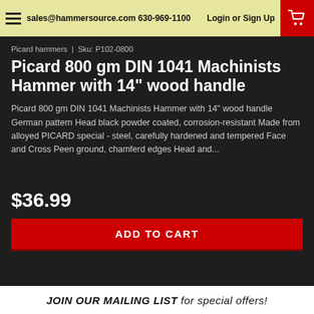sales@hammersource.com 630-969-1100  Login or Sign Up
Picard hammers  |  Sku: P102-0800
Picard 800 gm DIN 1041 Machinists Hammer with 14" wood handle
Picard 800 gm DIN 1041 Machinists Hammer with 14" wood handle German pattern Head black powder coated, corrosion-resistant Made from alloyed PICARD special - steel, carefully hardened and tempered Face and Cross Peen ground, chamferd edges Head and...
$36.99
ADD TO CART
JOIN OUR MAILING LIST for special offers!